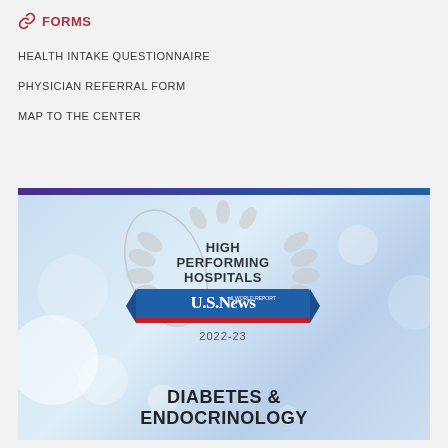FORMS
HEALTH INTAKE QUESTIONNAIRE
PHYSICIAN REFERRAL FORM
MAP TO THE CENTER
[Figure (photo): U.S. News & World Report High Performing Hospitals badge for Diabetes & Endocrinology 2022-23, on a light blue bokeh background with gradient top bar.]